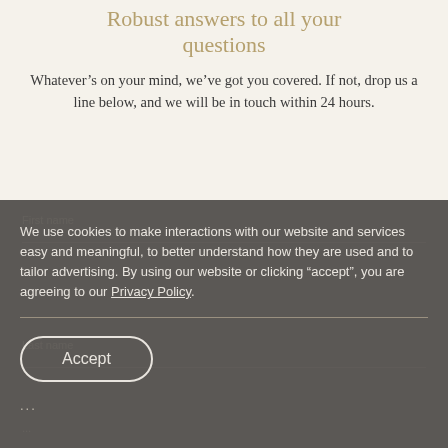Robust answers to all your questions
Whatever’s on your mind, we’ve got you covered. If not, drop us a line below, and we will be in touch within 24 hours.
We use cookies to make interactions with our website and services easy and meaningful, to better understand how they are used and to tailor advertising. By using our website or clicking “accept”, you are agreeing to our Privacy Policy.
Accept